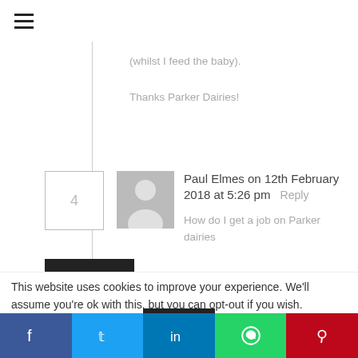☰ (menu icon)
(whilst I feed the baby).

Thanks Parker Dairies!
Paul Elmes on 12th February 2018 at 5:26 pm   Reply
How do I get a job on Parker dairies
This website uses cookies to improve your experience. We'll assume you're ok with this, but you can opt-out if you wish.